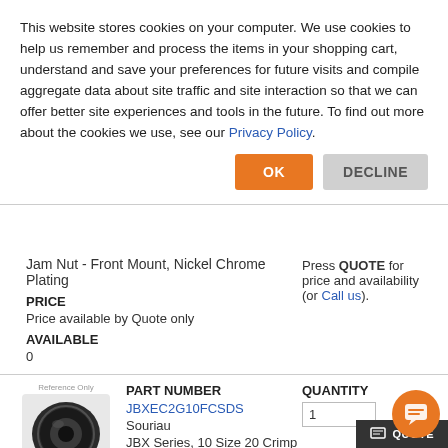This website stores cookies on your computer. We use cookies to help us remember and process the items in your shopping cart, understand and save your preferences for future visits and compile aggregate data about site traffic and site interaction so that we can offer better site experiences and tools in the future. To find out more about the cookies we use, see our Privacy Policy.
OK | DECLINE
Jam Nut - Front Mount, Nickel Chrome Plating
PRICE
Price available by Quote only
AVAILABLE
0
Press QUOTE for price and availability (or Call us).
PART NUMBER
JBXEC2G10FCSDS
Souriau
JBX Series, 10 Size 20 Crimp
QUANTITY
1
[Figure (photo): Black circular connector component - JBX Series]